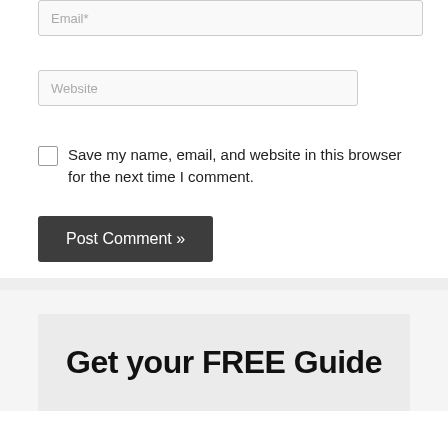[Figure (screenshot): Email input field (partially visible at top)]
[Figure (screenshot): Website input field]
Save my name, email, and website in this browser for the next time I comment.
[Figure (screenshot): Post Comment button]
Get your FREE Guide